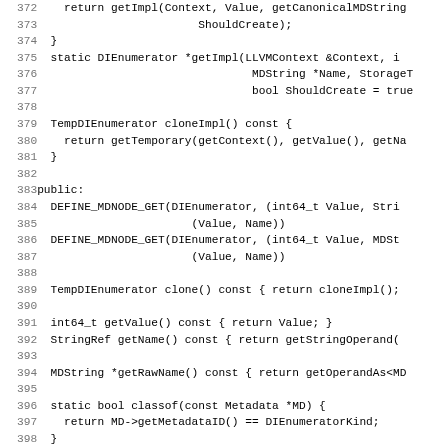[Figure (screenshot): Source code listing (C++ header file) showing lines 372–403 of a DIEnumerator class definition with line numbers on the left and code on the right, rendered in monospace font on white background.]